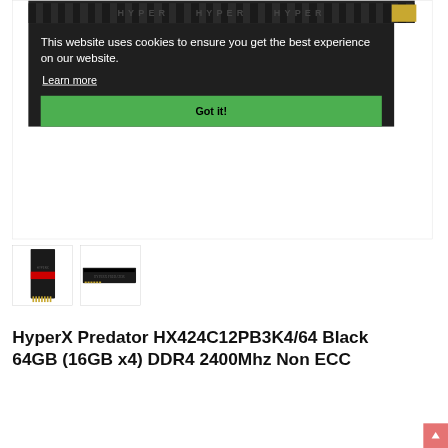[Figure (photo): HyperX Predator RAM sticks product image with cookie consent overlay banner showing 'This website uses cookies to ensure you get the best experience on our website.' with a Learn more link and a green 'Got it!' button]
[Figure (photo): Thumbnail of HyperX Predator RAM stick standing upright showing red branding stripe]
[Figure (photo): Thumbnail of HyperX Predator RAM stick lying flat showing top heat spreader]
HyperX Predator HX424C12PB3K4/64 Black 64GB (16GB x4) DDR4 2400Mhz Non ECC